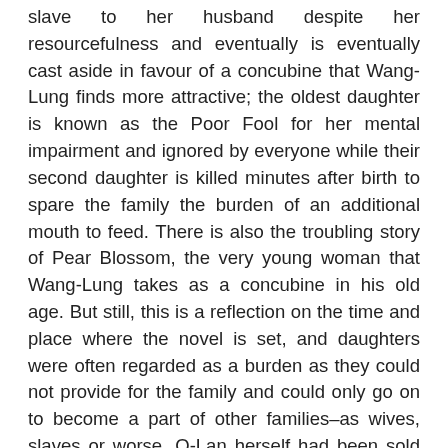slave to her husband despite her resourcefulness and eventually is eventually cast aside in favour of a concubine that Wang-Lung finds more attractive; the oldest daughter is known as the Poor Fool for her mental impairment and ignored by everyone while their second daughter is killed minutes after birth to spare the family the burden of an additional mouth to feed. There is also the troubling story of Pear Blossom, the very young woman that Wang-Lung takes as a concubine in his old age. But still, this is a reflection on the time and place where the novel is set, and daughters were often regarded as a burden as they could not provide for the family and could only go on to become a part of other families–as wives, slaves or worse. O-Lan herself had been sold as a slave as her family was poor and she was considered to be plain and not a good wife. (She was eventually gifted to Wang-Lung by a rich family who did not need her.) Meanwhile, Lotus, Wang-Lung's concubine had been sold into prostitution as she was considered beautiful. The sons are depicted as thoroughly selfish characters, though the